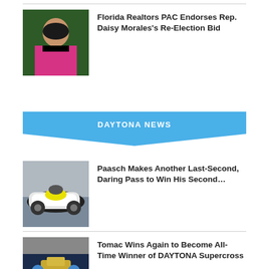[Figure (photo): Portrait photo of Rep. Daisy Morales wearing a pink jacket]
Florida Realtors PAC Endorses Rep. Daisy Morales's Re-Election Bid
DAYTONA NEWS
[Figure (photo): Motorcycle racer leaning into a turn on track]
Paasch Makes Another Last-Second, Daring Pass to Win His Second…
[Figure (photo): Tomac at DAYTONA Supercross celebration]
Tomac Wins Again to Become All-Time Winner of DAYTONA Supercross